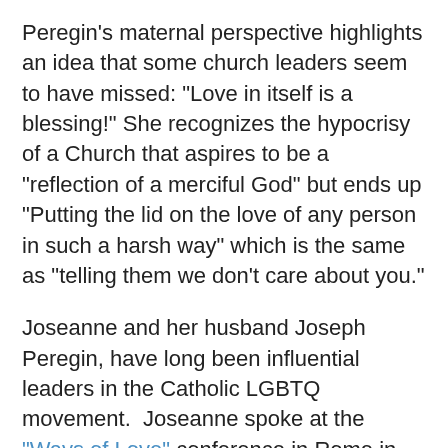Peregin's maternal perspective highlights an idea that some church leaders seem to have missed: “Love in itself is a blessing!” She recognizes the hypocrisy of a Church that aspires to be a “reflection of a merciful God” but ends up “Putting the lid on the love of any person in such a harsh way” which is the same as “telling them we don’t care about you.”
Joseanne and her husband Joseph Peregin, have long been influential leaders in the Catholic LGBTQ movement. Joseanne spoke at the “Ways of Love” conference in Rome in 2014. A Maltese bishop who attended the Synod on the Family in Rome in 2014 acknowledged that it was his conversations with the Peregins and other Drachma parents that made him take a